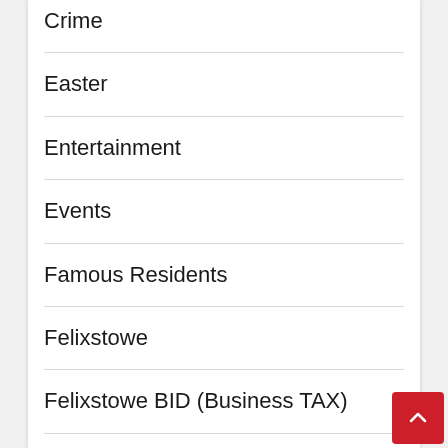Crime
Easter
Entertainment
Events
Famous Residents
Felixstowe
Felixstowe BID (Business TAX)
Felixstowe Business
Felixstowe High Street